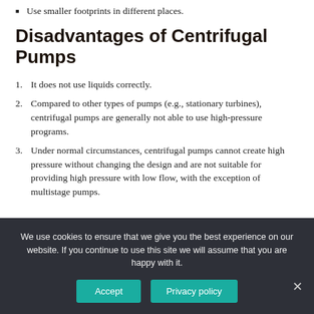Use smaller footprints in different places.
Disadvantages of Centrifugal Pumps
1. It does not use liquids correctly.
2. Compared to other types of pumps (e.g., stationary turbines), centrifugal pumps are generally not able to use high-pressure programs.
3. Under normal circumstances, centrifugal pumps cannot create high pressure without changing the design and are not suitable for providing high pressure with low flow, with the exception of multistage pumps.
We use cookies to ensure that we give you the best experience on our website. If you continue to use this site we will assume that you are happy with it.